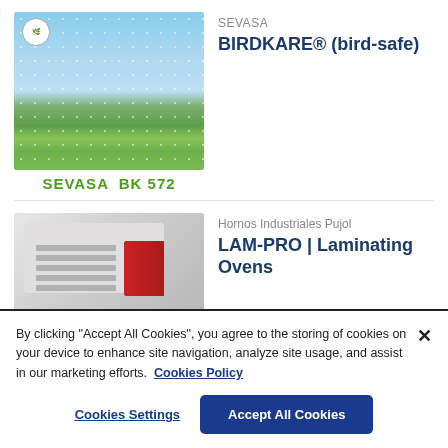[Figure (photo): Product image for SEVASA BIRDKARE bird-safe glass with dot pattern overlay on landscape with trees, labeled SEVASA BK 572]
SEVASA
BIRDKARE® (bird-safe)
[Figure (photo): Industrial laminating oven product image by Hornos Industriales Pujol, white and red machine]
Hornos Industriales Pujol
LAM-PRO | Laminating Ovens
By clicking "Accept All Cookies", you agree to the storing of cookies on your device to enhance site navigation, analyze site usage, and assist in our marketing efforts.  Cookies Policy